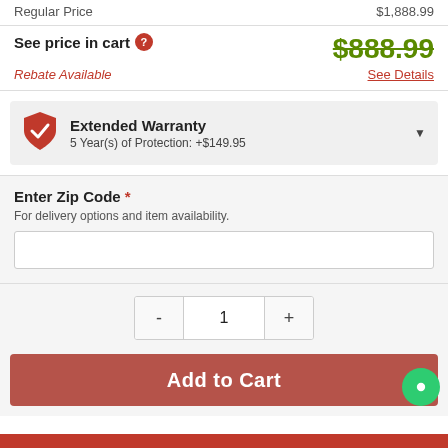Regular Price  $1,888.99
See price in cart ?  $888.99
Rebate Available  See Details
Extended Warranty  5 Year(s) of Protection: +$149.95
Enter Zip Code *  For delivery options and item availability.
1
Add to Cart